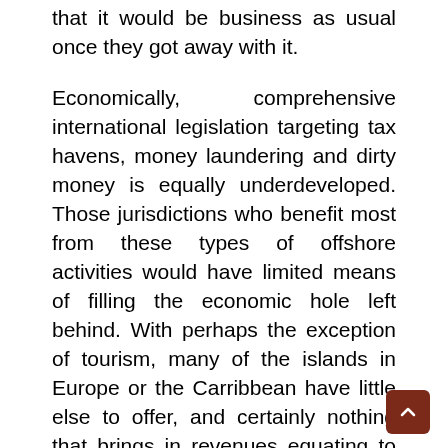that it would be business as usual once they got away with it.
Economically, comprehensive international legislation targeting tax havens, money laundering and dirty money is equally underdeveloped. Those jurisdictions who benefit most from these types of offshore activities would have limited means of filling the economic hole left behind. With perhaps the exception of tourism, many of the islands in Europe or the Carribbean have little else to offer, and certainly nothing that brings in revenues equating to those of no questions asked offshore financial